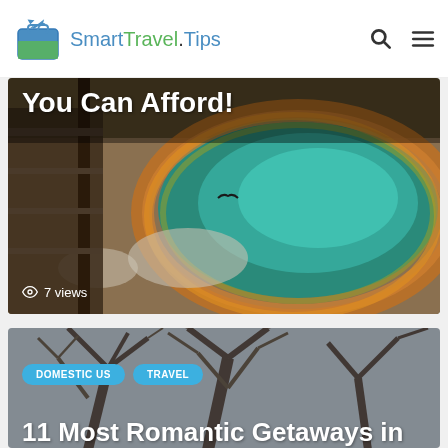Smart Travel.Tips
[Figure (photo): A colorful geothermal hot spring with orange, yellow, and teal colors, boardwalk railing visible on the left. Text overlay: 'You Can Afford!' and '7 views']
[Figure (photo): Bare winter trees with branches against a gray sky, from below looking up. Tags: DOMESTIC US, TRAVEL. Title: '11 Most Romantic Getaways in the US']